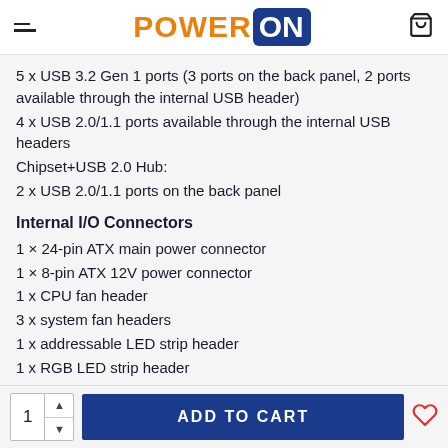POWER ON
5 x USB 3.2 Gen 1 ports (3 ports on the back panel, 2 ports available through the internal USB header)
4 x USB 2.0/1.1 ports available through the internal USB headers
Chipset+USB 2.0 Hub:
2 x USB 2.0/1.1 ports on the back panel
Internal I/O Connectors
1 × 24-pin ATX main power connector
1 × 8-pin ATX 12V power connector
1 x CPU fan header
3 x system fan headers
1 x addressable LED strip header
1 x RGB LED strip header
6 x SATA 6Gb/s connectors
1  ADD TO CART